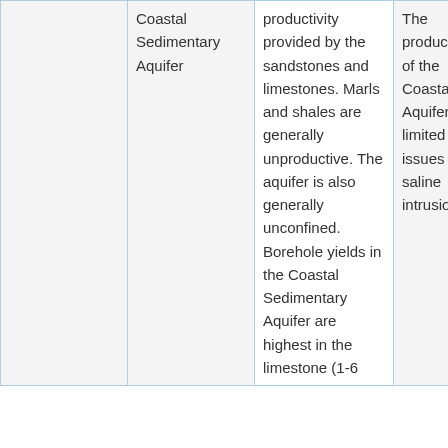|  | Coastal Sedimentary Aquifer | productivity provided by the sandstones and limestones. Marls and shales are generally unproductive. The aquifer is also generally unconfined. Borehole yields in the Coastal Sedimentary Aquifer are highest in the limestone (1-6 | The productivity of the Coastal Aquifer is limited due to issues with saline intrusion. | S m c g q i |